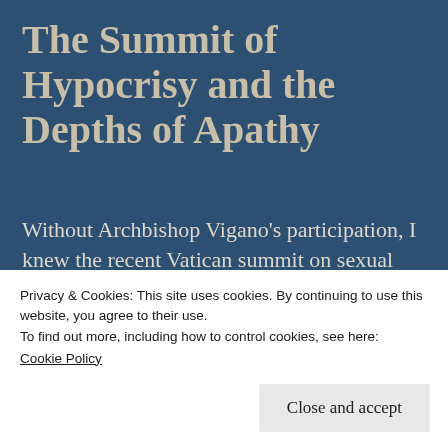The Summit of Hypocrisy and the Depths of Apathy
Without Archbishop Vigano's participation, I knew the recent Vatican summit on sexual abuse by the clergy was going to be a farce. Without Vigano in attendance, the gathered bishops could, with little resistance, pretend with the world at large that the Roman
Privacy & Cookies: This site uses cookies. By continuing to use this website, you agree to their use.
To find out more, including how to control cookies, see here:
Cookie Policy
Close and accept